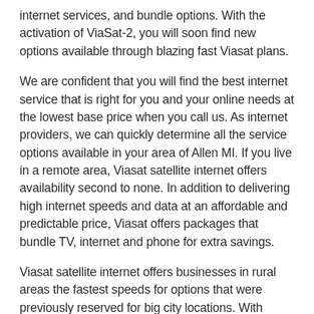internet services, and bundle options. With the activation of ViaSat-2, you will soon find new options available through blazing fast Viasat plans.
We are confident that you will find the best internet service that is right for you and your online needs at the lowest base price when you call us. As internet providers, we can quickly determine all the service options available in your area of Allen MI. If you live in a remote area, Viasat satellite internet offers availability second to none. In addition to delivering high internet speeds and data at an affordable and predictable price, Viasat offers packages that bundle TV, internet and phone for extra savings.
Viasat satellite internet offers businesses in rural areas the fastest speeds for options that were previously reserved for big city locations. With Viasat internet, you and your employees enjoy truly high-speed internet with Mbps up to 12mbps - 100mbps. You can be certain that Viasat satellite internet are available in Allen MI. With Viasat